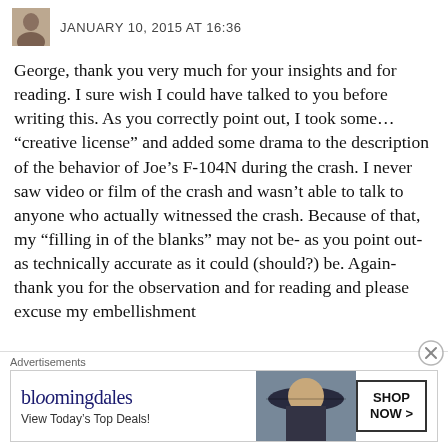JANUARY 10, 2015 AT 16:36
George, thank you very much for your insights and for reading. I sure wish I could have talked to you before writing this. As you correctly point out, I took some… “creative license” and added some drama to the description of the behavior of Joe’s F-104N during the crash. I never saw video or film of the crash and wasn’t able to talk to anyone who actually witnessed the crash. Because of that, my “filling in of the blanks” may not be- as you point out- as technically accurate as it could (should?) be. Again- thank you for the observation and for reading and please excuse my embellishment
Advertisements
[Figure (other): Bloomingdale's advertisement banner with logo, 'View Today's Top Deals!' tagline, woman in wide-brim hat, and 'SHOP NOW >' button]